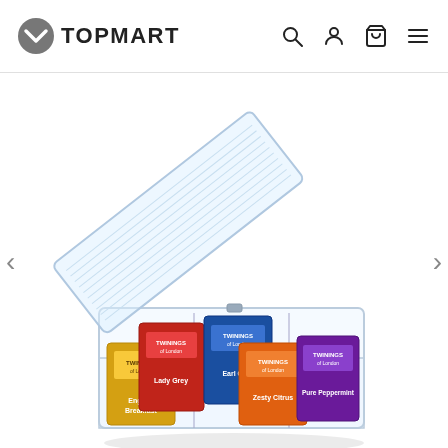TOPMART
[Figure (photo): Product photo of a clear plastic storage organizer box with a hinged lid open, containing multiple Twinings tea bag packets in various flavors and colors (yellow, red, blue, orange, purple), organized in compartments. The container is transparent/acrylic with a vented lid design.]